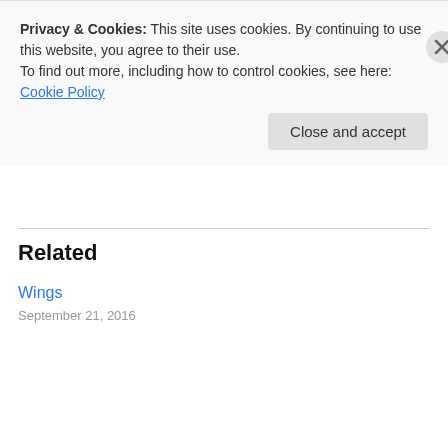Share this:
Twitter  Facebook
Loading...
Related
Wings
September 21, 2016
Privacy & Cookies: This site uses cookies. By continuing to use this website, you agree to their use.
To find out more, including how to control cookies, see here: Cookie Policy